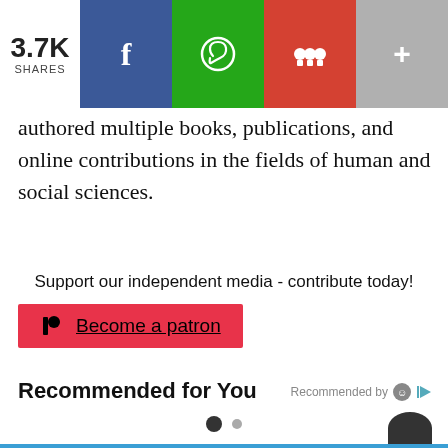[Figure (infographic): Social share bar showing 3.7K shares with Facebook (blue), WhatsApp (green), social/groups (red), and more (gray) buttons]
authored multiple books, publications, and online contributions in the fields of human and social sciences.
Support our independent media - contribute today!
[Figure (infographic): Red Patreon button with Patreon logo icon and text 'Become a patron']
Recommended for You
Recommended by [icon] |>